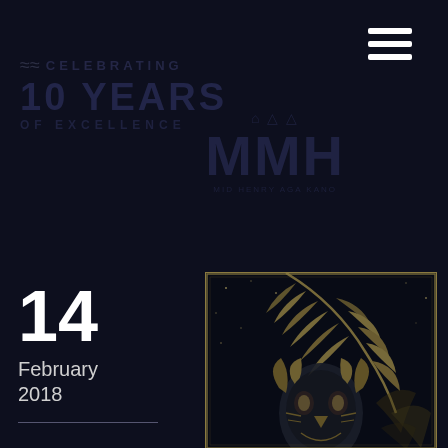[Figure (logo): Hamburger menu icon with three white horizontal bars, positioned top right]
[Figure (logo): Celebrating 10 Years of Excellence MMH logo in dark blue/navy watermark style on dark background]
14
February
2018
[Figure (illustration): Dark detailed illustration of a native American headdress / owl warrior figure with gold and dark tones, bordered with gold/tan frame lines]